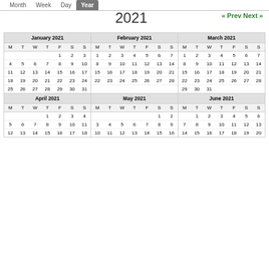Month  Week  Day  Year
2021
« Prev  Next »
| January 2021 | February 2021 | March 2021 |
| --- | --- | --- |
| M T W T F S S | M T W T F S S | M T W T F S S |
|       1 2 3 | 1 2 3 4 5 6 7 | 1 2 3 4 5 6 7 |
| 4 5 6 7 8 9 10 | 8 9 10 11 12 13 14 | 8 9 10 11 12 13 14 |
| 11 12 13 14 15 16 17 | 15 16 17 18 19 20 21 | 15 16 17 18 19 20 21 |
| 18 19 20 21 22 23 24 | 22 23 24 25 26 27 28 | 22 23 24 25 26 27 28 |
| 25 26 27 28 29 30 31 |  | 29 30 31 |
| April 2021 | May 2021 | June 2021 |
| --- | --- | --- |
| M T W T F S S | M T W T F S S | M T W T F S S |
|       1 2 3 4 |          1 2 |    1 2 3 4 5 6 |
| 5 6 7 8 9 10 11 | 3 4 5 6 7 8 9 | 7 8 9 10 11 12 13 |
| 12 13 14 15 16 17 18 | 10 11 12 13 14 15 16 | 14 15 16 17 18 19 20 |